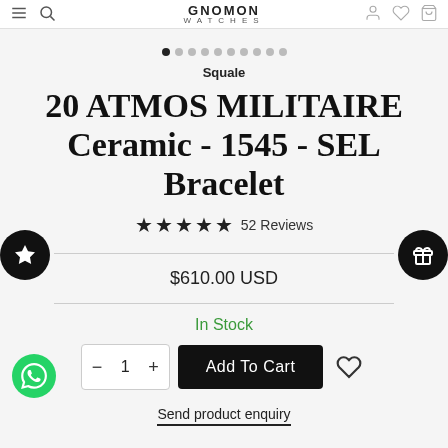GNOMON WATCHES
Squale
20 ATMOS MILITAIRE Ceramic - 1545 - SEL Bracelet
★★★★★ 52 Reviews
$610.00 USD
In Stock
Add To Cart
Send product enquiry